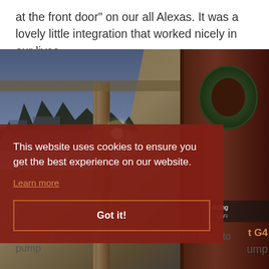at the front door" on our all Alexas. It was a lovely little integration that worked nicely in our lives.
[Figure (photo): Photo of a front porch/door taken from a doorbell camera perspective, showing porch ceiling, a column, outdoor light, trees in background, and a door with a Christmas wreath. A cookie consent overlay is displayed on top of the image.]
This website uses cookies to ensure you get the best experience on our website.
Learn more
Got it!
ording
UnFi
However, I swapped out the Ring for a
t G4
Doorbell for a number of reasons I don't want to pump video to outside services, so this doorbell into protec